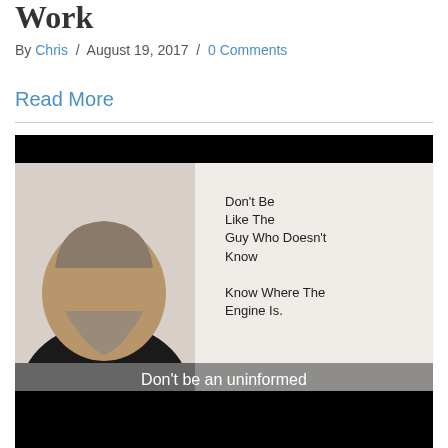Work
By Chris / August 19, 2017 / 0 Comments
Read More
[Figure (screenshot): Video thumbnail showing a man with a beard in a dark shirt standing in front of a whiteboard with handwritten text 'Don't Be Like The Guy Who Doesn't Know Where The Engine Is'. A subtitle bar reads 'Don't be an uninformed website consumer'. Black bars at top and bottom like a video player.]